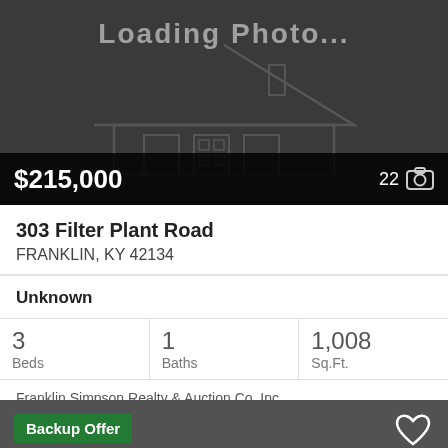[Figure (photo): Loading photo placeholder with dark background and faint house outline. Shows price $215,000 and photo count 22.]
303 Filter Plant Road
FRANKLIN, KY 42134
Unknown
|  |  |  |
| --- | --- | --- |
| 3
Beds | 1
Baths | 1,008
Sq.Ft. |
Franklin Simpson Realty & Auction Co. Inc.
[Figure (photo): Second listing card with dark gray background, house outline, Backup Offer badge in green, and heart icon.]